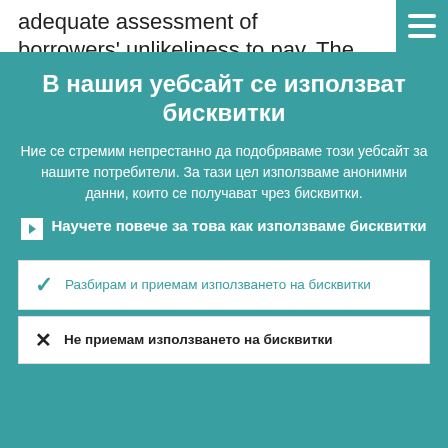adequate assessment of borrowers' unlikeliness to pay. The Joint Supervisory
В нашия уебсайт се използват бисквитки
Ние се стремим непрестанно да подобряваме този уебсайт за нашите потребители. За тази цел използваме анонимни данни, които се получават чрез бисквитки.
Научете повече за това как използваме бисквитки
Разбирам и приемам използването на бисквитки
Не приемам използването на бисквитки